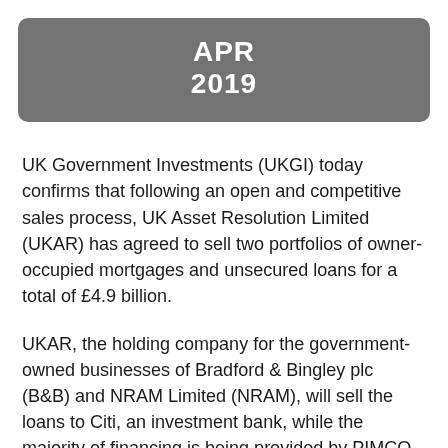APR 2019
UK Government Investments (UKGI) today confirms that following an open and competitive sales process, UK Asset Resolution Limited (UKAR) has agreed to sell two portfolios of owner-occupied mortgages and unsecured loans for a total of £4.9 billion.
UKAR, the holding company for the government-owned businesses of Bradford & Bingley plc (B&B) and NRAM Limited (NRAM), will sell the loans to Citi, an investment bank, while the majority of financing is being provided by PIMCO, a bond manager.
The proceeds of the sale will enable full repayment of the outstanding loans provided by HM Treasury to NRAM and